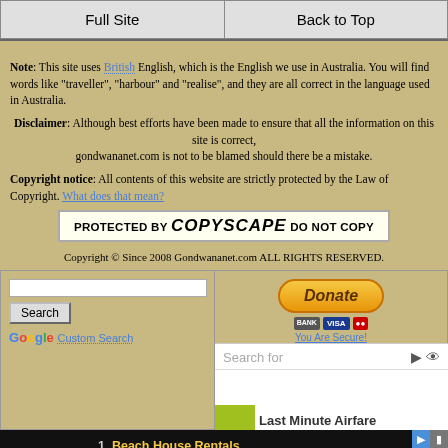Full Site | Back to Top
Note: This site uses British English, which is the English we use in Australia. You will find words like "traveller", "harbour" and "realise", and they are all correct in the language used in Australia.
Disclaimer: Although best efforts have been made to ensure that all the information on this site is correct, gondwananet.com is not to be blamed should there be a mistake.
Copyright notice: All contents of this website are strictly protected by the Law of Copyright. What does that mean?
[Figure (other): Copyscape protected badge: PROTECTED BY COPYSCAPE DO NOT COPY]
Copyright © Since 2008 Gondwananet.com ALL RIGHTS RESERVED.
[Figure (screenshot): Google Custom Search box with Search button]
[Figure (other): Donate button with PayPal, bank cards and You Are Secure text]
Search for
[Figure (screenshot): Advertisement showing Last Minute Airfare]
1. Beach House Rentals
2. Australia Tour Packages